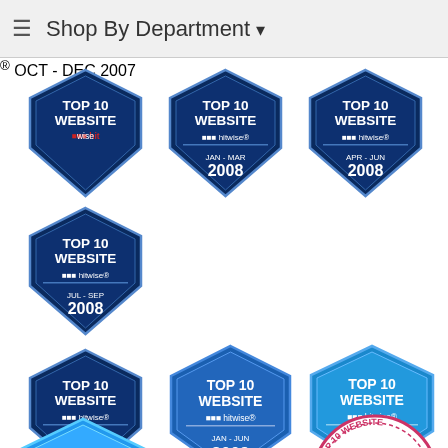≡ Shop By Department ▾
[Figure (illustration): Eight Hitwise 'Top 10 Website' badges arranged in a grid: Oct-Dec 2007, Jan-Mar 2008, Apr-Jun 2008, Jul-Sep 2008, Oct-Dec 2008, Jan-Jun 2009, Jul-Dec 2009, Jan-Jun 2010, plus one Experian Hitwise Winner badge for Jul-Dec 2010]